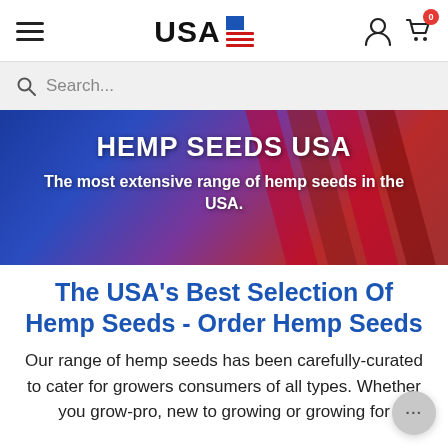USA Hemp Seeds - navigation bar with hamburger menu, USA logo with flag icon, user icon and cart icon with badge 0
Search...
[Figure (illustration): Hero banner with blue-to-red gradient background and American flag imagery on the right. Contains white bold text: HEMP SEEDS USA and The most extensive range of hemp seeds in the USA.]
The USA's Best Selection Of Hemp Seeds - Order Hemp Seeds
Our range of hemp seeds has been carefully-curated to cater for growers consumers of all types. Whether you grow-pro, new to growing or growing for